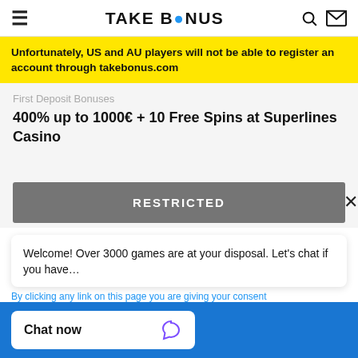TAKE BONUS
Unfortunately, US and AU players will not be able to register an account through takebonus.com
First Deposit Bonuses
400% up to 1000€ + 10 Free Spins at Superlines Casino
RESTRICTED
Welcome! Over 3000 games are at your disposal. Let's chat if you have…
By clicking any link on this page you are giving your consent
Chat now